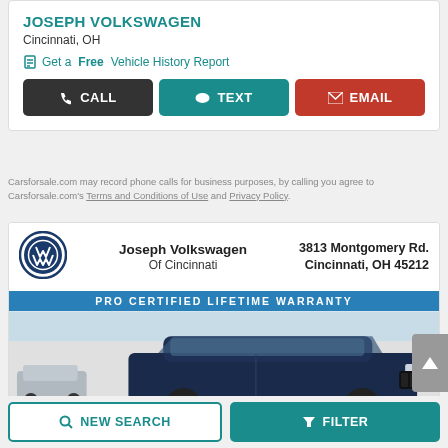JOSEPH VOLKSWAGEN
Cincinnati, OH
Get a Free Vehicle History Report
CALL  TEXT  EMAIL
Carsforsale.com may record phone calls for business purposes, by calling you agree to Carsforsale.com's Terms and Conditions of Use and Privacy Policy.
[Figure (photo): Dealer advertisement card showing Joseph Volkswagen of Cincinnati logo, address 3813 Montgomery Rd. Cincinnati, OH 45212, Pro Certified Lifetime Warranty banner, and a dark blue Volkswagen Atlas SUV parked in a lot.]
NEW SEARCH  FILTER